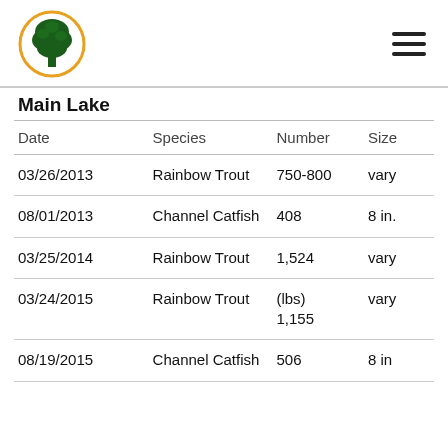Logo and navigation header
Main Lake
| Date | Species | Number | Size |
| --- | --- | --- | --- |
| 03/26/2013 | Rainbow Trout | 750-800 | vary |
| 08/01/2013 | Channel Catfish | 408 | 8 in. |
| 03/25/2014 | Rainbow Trout | 1,524 | vary |
| 03/24/2015 | Rainbow Trout | (lbs) 1,155 | vary |
| 08/19/2015 | Channel Catfish | 506 | 8 in |